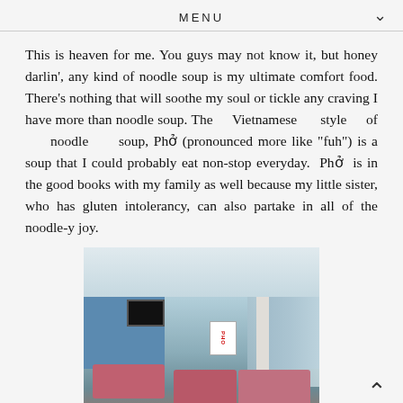MENU
This is heaven for me. You guys may not know it, but honey darlin', any kind of noodle soup is my ultimate comfort food. There's nothing that will soothe my soul or tickle any craving I have more than noodle soup. The Vietnamese style of noodle soup, Phở (pronounced more like "fuh") is a soup that I could probably eat non-stop everyday. Phở is in the good books with my family as well because my little sister, who has gluten intolerancy, can also partake in all of the noodle-y joy.
[Figure (photo): Interior of a Vietnamese Pho restaurant with pink/red tablecloths on tables, wooden chairs, blue walls, a TV screen, and staff visible in the background]